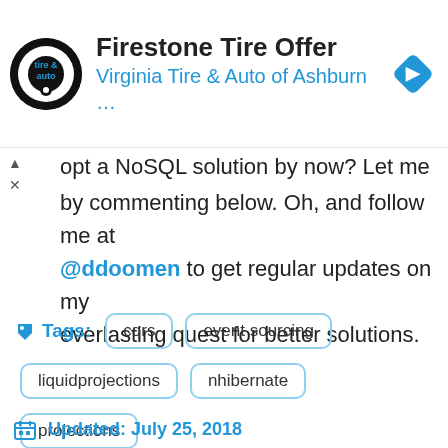[Figure (screenshot): Advertisement banner for Firestone Tire Offer from Virginia Tire & Auto of Ashburn with logo and navigation icon]
opt a NoSQL solution by now? Let me know by commenting below. Oh, and follow me at @ddoomen to get regular updates on my everlasting quest for better solutions.
Tags: cqrs event sourcing liquidprojections nhibernate projections
Updated: July 25, 2018